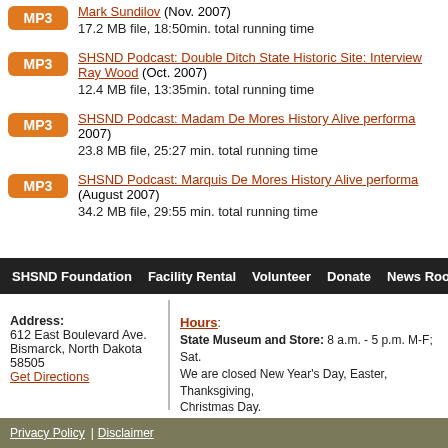Mark Sundilov (Nov. 2007) 17.2 MB file, 18:50min. total running time
SHSND Podcast: Double Ditch State Historic Site: Interview Ray Wood (Oct. 2007) 12.4 MB file, 13:35min. total running time
SHSND Podcast: Madam De Mores History Alive performa... 2007) 23.8 MB file, 25:27 min. total running time
SHSND Podcast: Marquis De Mores History Alive performa... (August 2007) 34.2 MB file, 29:55 min. total running time
SHSND Foundation | Facility Rental | Volunteer | Donate | News Room
Address: 612 East Boulevard Ave. Bismarck, North Dakota 58505 Get Directions
Hours: State Museum and Store: 8 a.m. - 5 p.m. M-F; Sat. We are closed New Year's Day, Easter, Thanksgiving, Christmas Day. State Archives: 8 a.m. - 4:30 p.m. M-F, except state month, 10 a.m. - 4:30 p.m. Appointments are recomm... appointment, please contact us at 701.328.2091 or a... State Historical Society offices: 8 a.m. - 5 p.m. M-F
Privacy Policy | Disclaimer